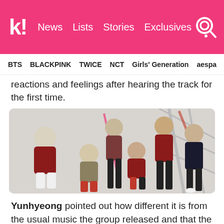k! News Lists Stories Exclusives [search icon]
BTS  BLACKPINK  TWICE  NCT  Girls' Generation  aespa
reactions and feelings after hearing the track for the first time.
[Figure (photo): Group photo of iKON members posing in red and dark outfits on a white/grey background with scaffolding]
Yunhyeong pointed out how different it is from the usual music the group released and that the